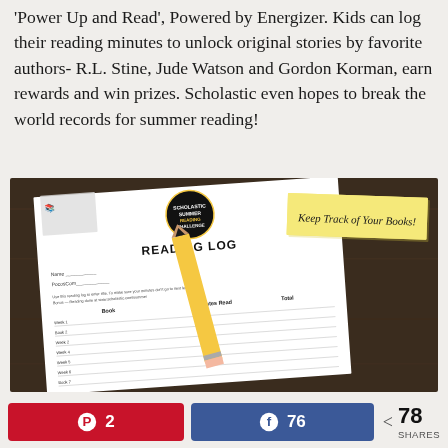'Power Up and Read', Powered by Energizer. Kids can log their reading minutes to unlock original stories by favorite authors- R.L. Stine, Jude Watson and Gordon Korman, earn rewards and win prizes. Scholastic even hopes to break the world records for summer reading!
[Figure (photo): A photo of a Scholastic Summer Reading Challenge Reading Log booklet open on a wooden table with a pencil resting on it. A sticky note reads 'Keep Track of Your Books!']
2
76
78 SHARES